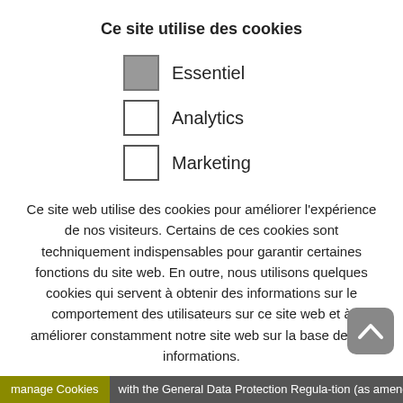Ce site utilise des cookies
Essentiel (checked)
Analytics (unchecked)
Marketing (unchecked)
Ce site web utilise des cookies pour améliorer l'expérience de nos visiteurs. Certains de ces cookies sont techniquement indispensables pour garantir certaines fonctions du site web. En outre, nous utilisons quelques cookies qui servent à obtenir des informations sur le comportement des utilisateurs sur ce site web et à améliorer constamment notre site web sur la base de ces informations.
Enregistrer la sélection
manage Cookies    with the General Data Protection Regula-tion (as amended